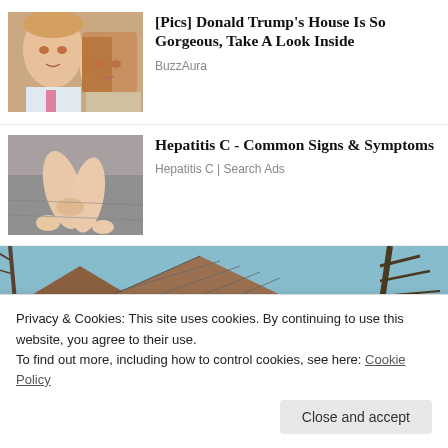[Figure (photo): Photo of Donald Trump and Melania Trump together]
[Pics] Donald Trump's House Is So Gorgeous, Take A Look Inside
BuzzAura
[Figure (photo): Photo showing bare legs/feet on a bed, representing Hepatitis C health article]
Hepatitis C - Common Signs & Symptoms
Hepatitis C | Search Ads
[Figure (photo): Partial photo showing rooftop of a house against blue sky with trees]
Privacy & Cookies: This site uses cookies. By continuing to use this website, you agree to their use.
To find out more, including how to control cookies, see here: Cookie Policy